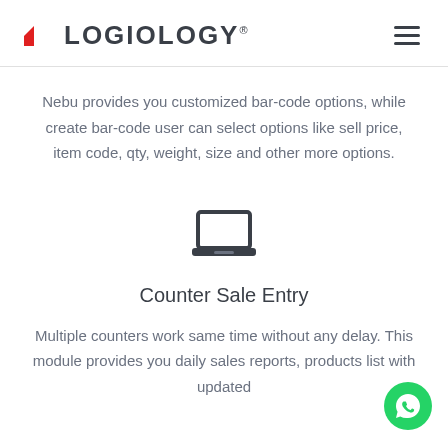LOGIOLOGY
Nebu provides you customized bar-code options, while create bar-code user can select options like sell price, item code, qty, weight, size and other more options.
[Figure (illustration): Laptop/computer icon in dark gray]
Counter Sale Entry
Multiple counters work same time without any delay. This module provides you daily sales reports, products list with updated